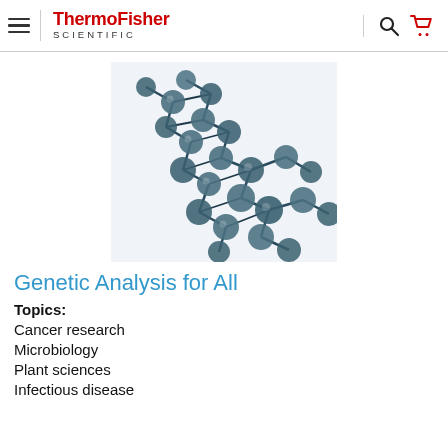ThermoFisher SCIENTIFIC
[Figure (illustration): 3D rendered DNA double helix structure made of blue-grey spherical molecules on a white background]
Genetic Analysis for All
Topics:
Cancer research
Microbiology
Plant sciences
Infectious disease